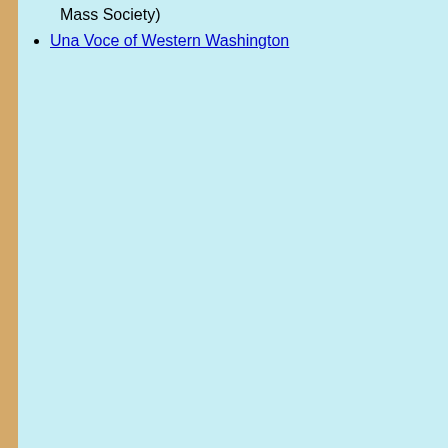Mass Society)
Una Voce of Western Washington
Ke...
Pro ...
Pax ... and ... sells ...
Stra... Sacr...
Mod... chil...
Stell... Supp...
Etern... A. H...
Vestments
Copi... Anci...
See a... Line...
Misc.
Art f...